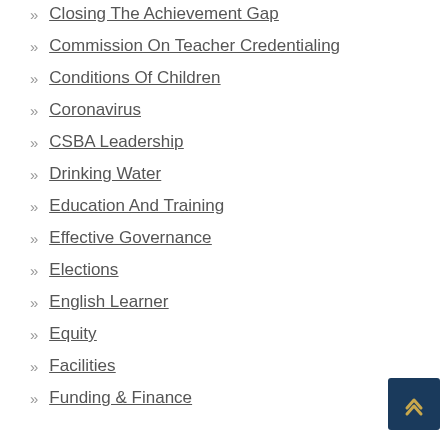Closing The Achievement Gap
Commission On Teacher Credentialing
Conditions Of Children
Coronavirus
CSBA Leadership
Drinking Water
Education And Training
Effective Governance
Elections
English Learner
Equity
Facilities
Funding & Finance